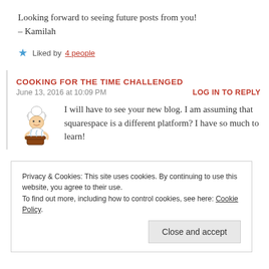Looking forward to seeing future posts from you!
– Kamilah
Liked by 4 people
COOKING FOR THE TIME CHALLENGED
June 13, 2016 at 10:09 PM
LOG IN TO REPLY
[Figure (illustration): Chef avatar illustration showing a cartoon chef with a pot]
I will have to see your new blog. I am assuming that squarespace is a different platform? I have so much to learn!
Privacy & Cookies: This site uses cookies. By continuing to use this website, you agree to their use.
To find out more, including how to control cookies, see here: Cookie Policy
Close and accept